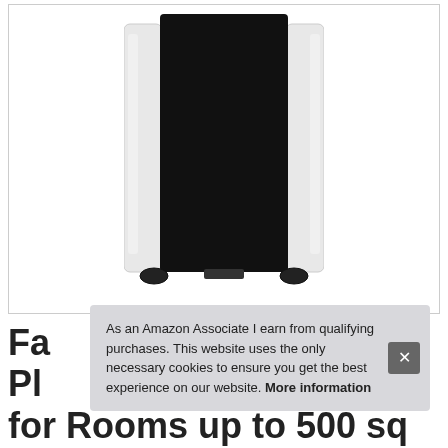[Figure (photo): Front view of a portable air conditioner/purifier unit with black front panel and white/silver sides, standing on small black wheels/casters. The unit is tall and rectangular.]
As an Amazon Associate I earn from qualifying purchases. This website uses the only necessary cookies to ensure you get the best experience on our website. More information
Fa... Pl... for Rooms up to 500 sq ft. Whiter